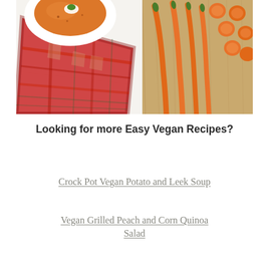[Figure (photo): Overhead photo of a bowl of orange soup (carrot or squash) with garnish, a red plaid cloth napkin, and sliced carrots on a wooden cutting board]
Looking for more Easy Vegan Recipes?
Crock Pot Vegan Potato and Leek Soup
Vegan Grilled Peach and Corn Quinoa Salad